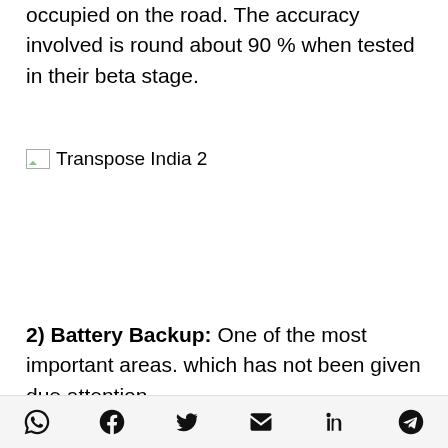occupied on the road. The accuracy involved is round about 90 % when tested in their beta stage.
[Figure (illustration): Broken/placeholder image icon labeled 'Transpose India 2']
2) Battery Backup: One of the most important areas. which has not been given due attention.
Social share icons: WhatsApp, Facebook, Twitter, Email, LinkedIn, Telegram